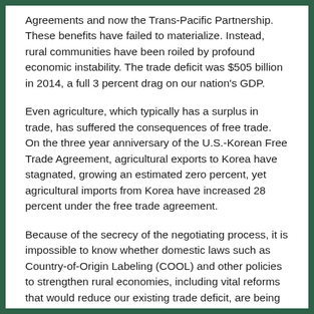Agreements and now the Trans-Pacific Partnership. These benefits have failed to materialize. Instead, rural communities have been roiled by profound economic instability. The trade deficit was $505 billion in 2014, a full 3 percent drag on our nation's GDP.
Even agriculture, which typically has a surplus in trade, has suffered the consequences of free trade. On the three year anniversary of the U.S.-Korean Free Trade Agreement, agricultural exports to Korea have stagnated, growing an estimated zero percent, yet agricultural imports from Korea have increased 28 percent under the free trade agreement.
Because of the secrecy of the negotiating process, it is impossible to know whether domestic laws such as Country-of-Origin Labeling (COOL) and other policies to strengthen rural economies, including vital reforms that would reduce our existing trade deficit, are being traded away.